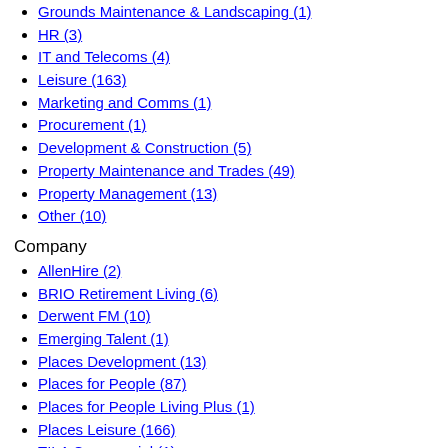Grounds Maintenance & Landscaping (1)
HR (3)
IT and Telecoms (4)
Leisure (163)
Marketing and Comms (1)
Procurement (1)
Development & Construction (5)
Property Maintenance and Trades (49)
Property Management (13)
Other (10)
Company
AllenHire (2)
BRIO Retirement Living (6)
Derwent FM (10)
Emerging Talent (1)
Places Development (13)
Places for People (87)
Places for People Living Plus (1)
Places Leisure (166)
TILA Commercial (1)
Touchstone (7)
More Filters